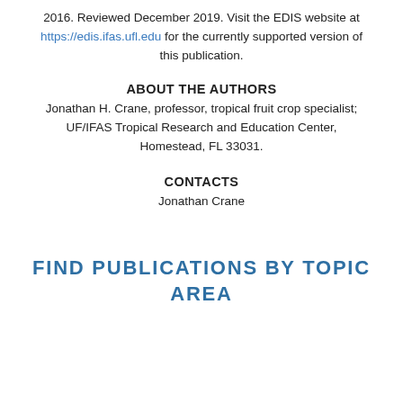2016. Reviewed December 2019. Visit the EDIS website at https://edis.ifas.ufl.edu for the currently supported version of this publication.
ABOUT THE AUTHORS
Jonathan H. Crane, professor, tropical fruit crop specialist; UF/IFAS Tropical Research and Education Center, Homestead, FL 33031.
CONTACTS
Jonathan Crane
FIND PUBLICATIONS BY TOPIC AREA